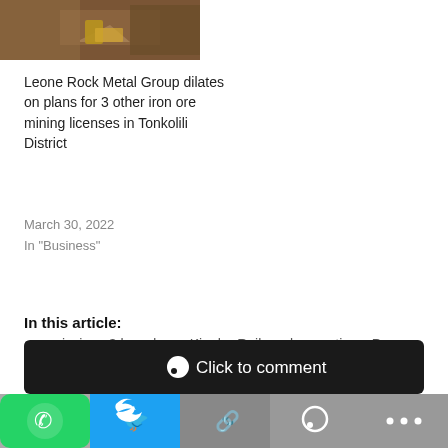[Figure (photo): Partial view of a mining site or dirt road, brownish-orange tones]
Leone Rock Metal Group dilates on plans for 3 other iron ore mining licenses in Tonkolili District
March 30, 2022
In "Business"
In this article:
commissions 3 brand new Kingho Railway locomotives, Prez Bio
[Figure (screenshot): Click to comment button on dark bar with social sharing icons below (WhatsApp, Twitter, link, comment, more)]